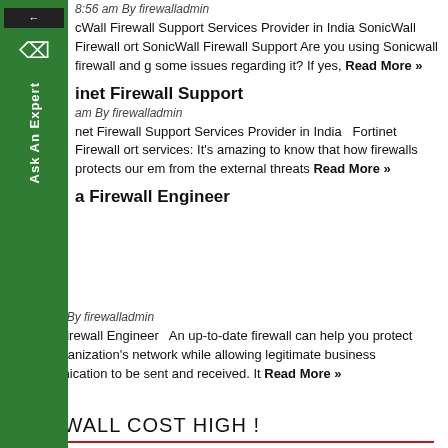8:56 am By firewalladmin
cWall Firewall Support Services Provider in India SonicWall Firewall ort SonicWall Firewall Support Are you using Sonicwall firewall and g some issues regarding it? If yes, Read More »
inet Firewall Support
am By firewalladmin
net Firewall Support Services Provider in India   Fortinet Firewall ort services: It's amazing to know that how firewalls protects our em from the external threats Read More »
a Firewall Engineer
3:33 pm By firewalladmin
Hire a Firewall Engineer   An up-to-date firewall can help you protect your organization's network while allowing legitimate business communication to be sent and received. It Read More »
FIREWALL COST HIGH !
Firewall Cost High ! Analise it properly before you chose a vendor. Analise it properly before you chose a vendor. »